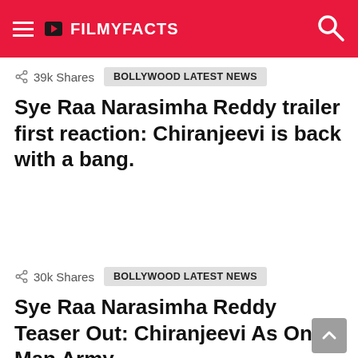FILMYFACTS
39k Shares   BOLLYWOOD LATEST NEWS
Sye Raa Narasimha Reddy trailer first reaction: Chiranjeevi is back with a bang.
30k Shares   BOLLYWOOD LATEST NEWS
Sye Raa Narasimha Reddy Teaser Out: Chiranjeevi As One Man Army